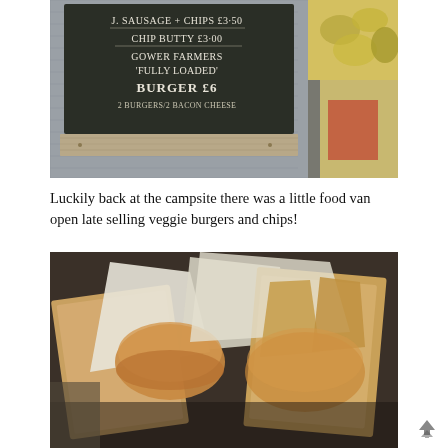[Figure (photo): Chalkboard menu sign on a corrugated metal wall showing: J. Sausage + Chips £3.50, Chip Butty £3.00, Gower Farmers 'Fully Loaded' Burger £6, 2 Burgers/2 Bacon Cheese. A weathered wooden plank sits below the sign. Autumn leaves visible on the right side.]
Luckily back at the campsite there was a little food van open late selling veggie burgers and chips!
[Figure (photo): Close-up photo of takeaway food in cardboard boxes and paper bags — veggie burgers wrapped in paper, buns visible, cardboard chip holders, taken at an angle from above.]